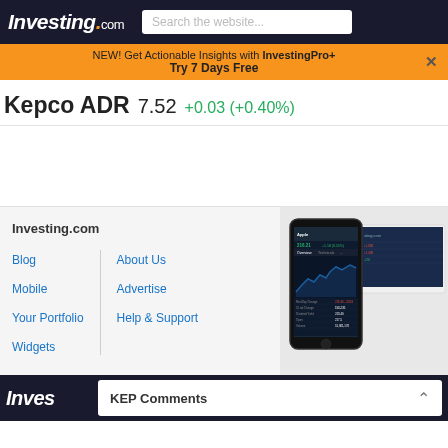Investing.com  Search the website...
NEW! Get Actionable Insights with InvestingPro+  Try 7 Days Free
Kepco ADR  7.52  +0.03 (+0.40%)
[Figure (screenshot): App screenshot showing investing.com mobile and desktop interface with Apple stock chart]
Investing.com
Blog
Mobile
Your Portfolio
Widgets
About Us
Advertise
Help & Support
Inves  KEP Comments